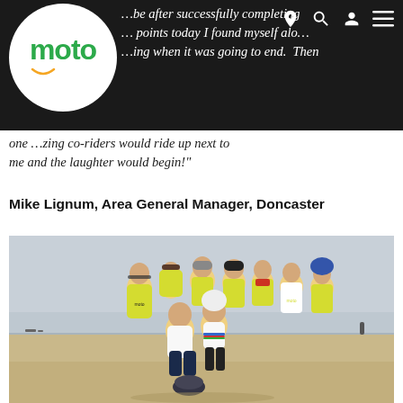[Figure (logo): Moto logo — white circle with green 'moto' text and yellow smile arc underneath]
…be after successfully completing … points today I found myself alone … when it was going to end. Then one …zing co-riders would ride up next to me and the laughter would begin!"
Mike Lignum, Area General Manager, Doncaster
[Figure (photo): Group photo of approximately 9 cyclists in yellow 'moto' branded jerseys posing together on a sandy beach. Two riders crouch at the front; others stand behind. Most wear cycling helmets or carry them. Background shows a grey overcast sky and flat sandy beach.]